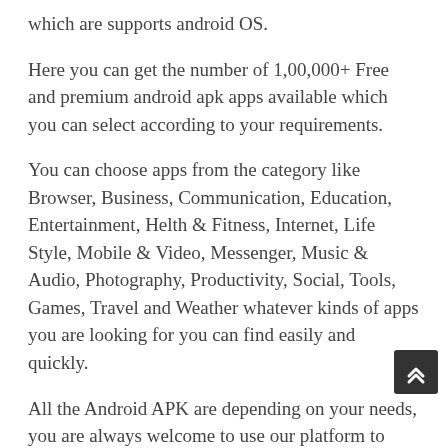which are supports android OS.
Here you can get the number of 1,00,000+ Free and premium android apk apps available which you can select according to your requirements.
You can choose apps from the category like Browser, Business, Communication, Education, Entertainment, Helth & Fitness, Internet, Life Style, Mobile & Video, Messenger, Music & Audio, Photography, Productivity, Social, Tools, Games, Travel and Weather whatever kinds of apps you are looking for you can find easily and quickly.
All the Android APK are depending on your needs, you are always welcome to use our platform to download any apps directly here.
DOWNLOAD MEGA RAMP CAR